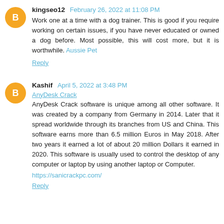kingseo12 February 26, 2022 at 11:08 PM
Work one at a time with a dog trainer. This is good if you require working on certain issues, if you have never educated or owned a dog before. Most possible, this will cost more, but it is worthwhile. Aussie Pet
Reply
Kashif April 5, 2022 at 3:48 PM
AnyDesk Crack
AnyDesk Crack software is unique among all other software. It was created by a company from Germany in 2014. Later that it spread worldwide through its branches from US and China. This software earns more than 6.5 million Euros in May 2018. After two years it earned a lot of about 20 million Dollars it earned in 2020. This software is usually used to control the desktop of any computer or laptop by using another laptop or Computer.
https://sanicrackpc.com/
Reply